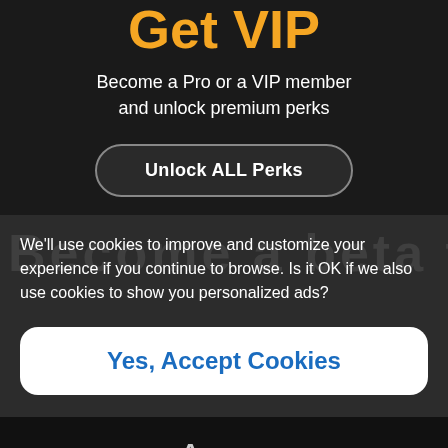Get VIP
Become a Pro or a VIP member and unlock premium perks
Unlock ALL Perks
Become a beta tester
We'll use cookies to improve and customize your experience if you continue to browse. Is it OK if we also use cookies to show you personalized ads?
Yes, Accept Cookies
Apps